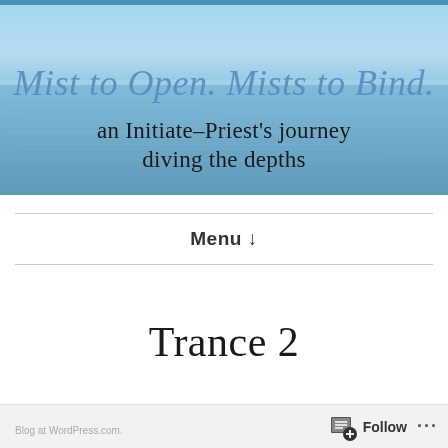[Figure (photo): Ocean/seascape banner image with sky and water. Overlaid text reads: 'Mist to Open. Mists to Bind.' in large blue serif/italic font, and below it 'an Initiate-Priest's journey diving the depths' in dark serif font.]
Menu ↓
Trance 2
Follow ...